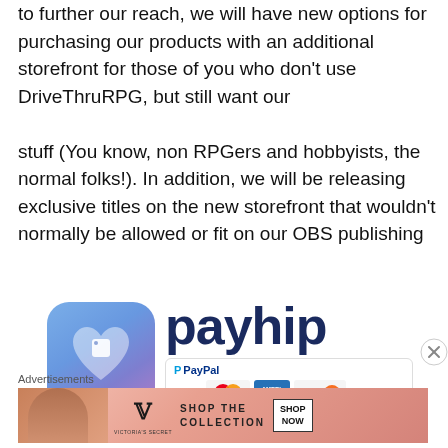to further our reach, we will have new options for purchasing our products with an additional storefront for those of you who don't use DriveThruRPG, but still want our stuff (You know, non RPGers and hobbyists, the normal folks!). In addition, we will be releasing exclusive titles on the new storefront that wouldn't normally be allowed or fit on our OBS publishing pages.
[Figure (logo): Payhip logo with icon showing a heart with a price tag on blue gradient background, wordmark 'payhip' in dark navy, and payment method icons including PayPal, Visa, MasterCard, American Express, and Discover]
Advertisements
[Figure (photo): Victoria's Secret advertisement banner with a woman, logo, and text 'SHOP THE COLLECTION' with a 'SHOP NOW' button]